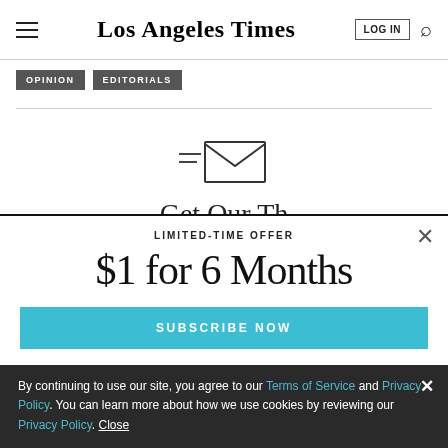Los Angeles Times — LOG IN | Search
OPINION   EDITORIALS
[Figure (illustration): Envelope icon with two horizontal lines to the left, representing an email newsletter icon]
[Figure (illustration): Partial text of a newsletter/article title partially obscured by subscription modal]
LIMITED-TIME OFFER
$1 for 6 Months
SUBSCRIBE NOW
By continuing to use our site, you agree to our Terms of Service and Privacy Policy. You can learn more about how we use cookies by reviewing our Privacy Policy. Close